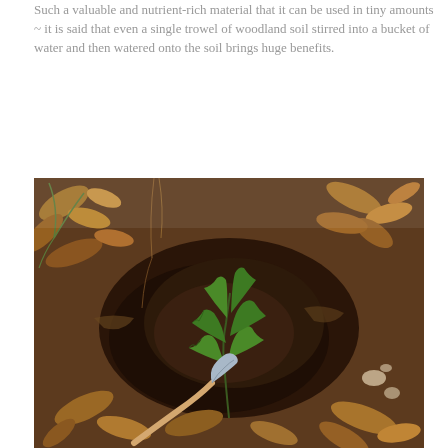Such a valuable and nutrient-rich material that it can be used in tiny amounts ~ it is said that even a single trowel of woodland soil stirred into a bucket of water and then watered onto the soil brings huge benefits.
[Figure (photo): Close-up photograph of woodland soil with a small green plant with jagged leaves growing among dry leaves and debris, with a garden trowel visible at the bottom of the image.]